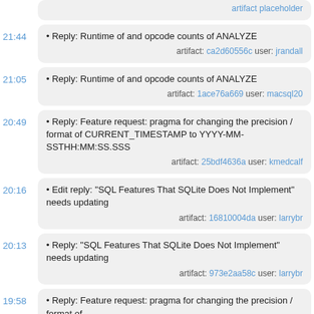21:44 • Reply: Runtime of and opcode counts of ANALYZE artifact: ca2d60556c user: jrandall
21:05 • Reply: Runtime of and opcode counts of ANALYZE artifact: 1ace76a669 user: macsql20
20:49 • Reply: Feature request: pragma for changing the precision / format of CURRENT_TIMESTAMP to YYYY-MM-SSTHH:MM:SS.SSS artifact: 25bdf4636a user: kmedcalf
20:16 • Edit reply: "SQL Features That SQLite Does Not Implement" needs updating artifact: 16810004da user: larrybr
20:13 • Reply: "SQL Features That SQLite Does Not Implement" needs updating artifact: 973e2aa58c user: larrybr
19:58 • Reply: Feature request: pragma for changing the precision / format of